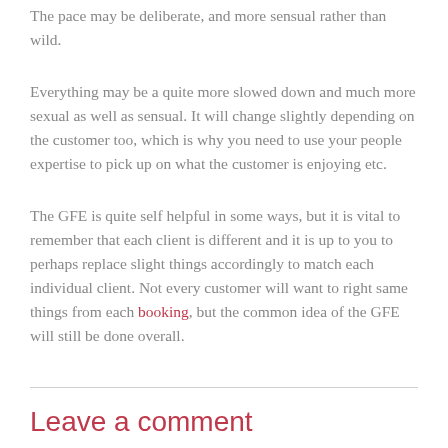The pace may be deliberate, and more sensual rather than wild.
Everything may be a quite more slowed down and much more sexual as well as sensual. It will change slightly depending on the customer too, which is why you need to use your people expertise to pick up on what the customer is enjoying etc.
The GFE is quite self helpful in some ways, but it is vital to remember that each client is different and it is up to you to perhaps replace slight things accordingly to match each individual client. Not every customer will want to right same things from each booking, but the common idea of the GFE will still be done overall.
Leave a comment